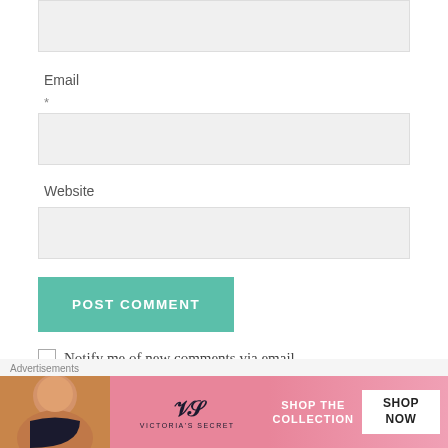[Figure (screenshot): Grey input box at top of page (partial, clipped)]
Email
*
[Figure (screenshot): Email input field (grey rectangle)]
Website
[Figure (screenshot): Website input field (grey rectangle)]
[Figure (screenshot): POST COMMENT button (teal/green)]
Notify me of new comments via email.
Advertisements
[Figure (infographic): Victoria's Secret advertisement banner with model photo, VS logo, SHOP THE COLLECTION text, and SHOP NOW white button]